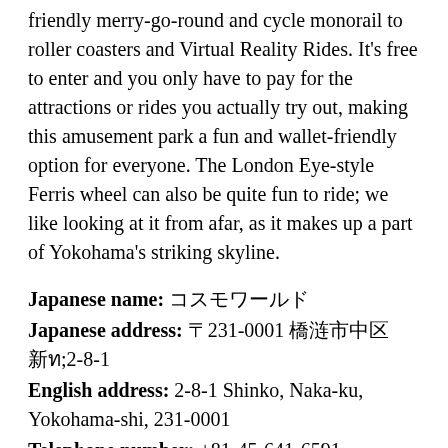friendly merry-go-round and cycle monorail to roller coasters and Virtual Reality Rides. It's free to enter and you only have to pay for the attractions or rides you actually try out, making this amusement park a fun and wallet-friendly option for everyone. The London Eye-style Ferris wheel can also be quite fun to ride; we like looking at it from afar, as it makes up a part of Yokohama's striking skyline.
Japanese name: コスモワールド
Japanese address: 〒231-0001 横浜市中区新港2-8-1
English address: 2-8-1 Shinko, Naka-ku, Yokohama-shi, 231-0001
Telephone number: +81-45-641-6591
Opening hours: 11am-8pm or 9pm or 10pm (varies from day to day). Closed Thursday except national holidays
Nearest transport: Train: 2-minute walk from exit 5 of Minatomirai Station on the Minatomirai line